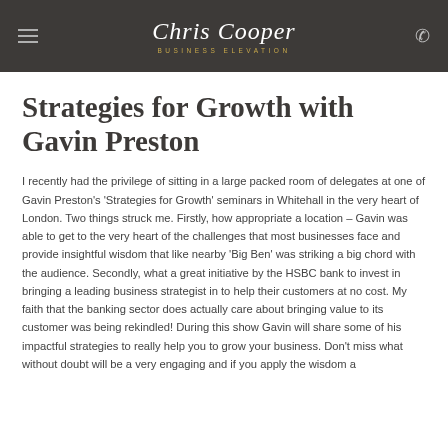Chris Cooper BUSINESS ELEVATION
Strategies for Growth with Gavin Preston
I recently had the privilege of sitting in a large packed room of delegates at one of Gavin Preston's 'Strategies for Growth' seminars in Whitehall in the very heart of London. Two things struck me. Firstly, how appropriate a location – Gavin was able to get to the very heart of the challenges that most businesses face and provide insightful wisdom that like nearby 'Big Ben' was striking a big chord with the audience. Secondly, what a great initiative by the HSBC bank to invest in bringing a leading business strategist in to help their customers at no cost. My faith that the banking sector does actually care about bringing value to its customer was being rekindled! During this show Gavin will share some of his impactful strategies to really help you to grow your business. Don't miss what without doubt will be a very engaging and if you apply the wisdom a